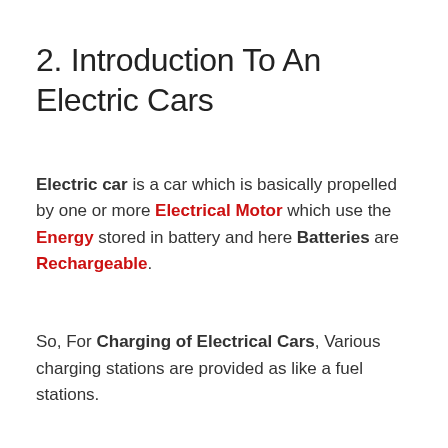2. Introduction To An Electric Cars
Electric car is a car which is basically propelled by one or more Electrical Motor which use the Energy stored in battery and here Batteries are Rechargeable.
So, For Charging of Electrical Cars, Various charging stations are provided as like a fuel stations.